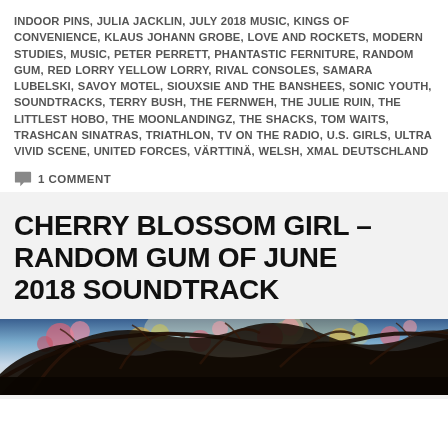INDOOR PINS, JULIA JACKLIN, JULY 2018 MUSIC, KINGS OF CONVENIENCE, KLAUS JOHANN GROBE, LOVE AND ROCKETS, MODERN STUDIES, MUSIC, PETER PERRETT, PHANTASTIC FERNITURE, RANDOM GUM, RED LORRY YELLOW LORRY, RIVAL CONSOLES, SAMARA LUBELSKI, SAVOY MOTEL, SIOUXSIE AND THE BANSHEES, SONIC YOUTH, SOUNDTRACKS, TERRY BUSH, THE FERNWEH, THE JULIE RUIN, THE LITTLEST HOBO, THE MOONLANDINGZ, THE SHACKS, TOM WAITS, TRASHCAN SINATRAS, TRIATHLON, TV ON THE RADIO, U.S. GIRLS, ULTRA VIVID SCENE, UNITED FORCES, VÄRTTINÄ, WELSH, XMAL DEUTSCHLAND
1 COMMENT
CHERRY BLOSSOM GIRL – RANDOM GUM OF JUNE 2018 SOUNDTRACK
[Figure (photo): Cherry blossom tree branches photographed from below against a bright sky, with pink and yellow blossoms visible]